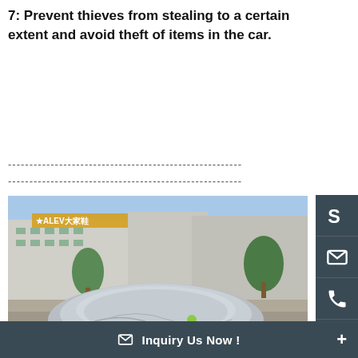7: Prevent thieves from stealing to a certain extent and avoid theft of items in the car.
------------------------------------------------------------------------
------------------------------------------------------------------------
[Figure (photo): A car covered with a silver car cover parked in front of a commercial building, watermark reads 'Website...caraccessory.com']
[Figure (photo): Partial view of a building exterior, cropped at bottom of page]
Inquiry Us Now !